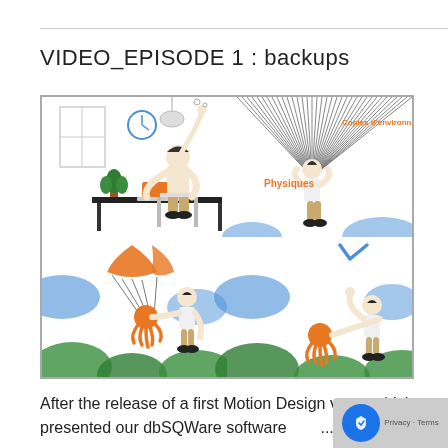VIDEO_EPISODE 1 : backups
[Figure (illustration): Four-panel illustration from a motion design video about backups. Top-left: a man sitting at a desk with a laptop, a clock on the wall, and a plant. Top-right: a figure holding multiple parachute strings with labels 'Physiques' and 'Copies d environnement'. Bottom-left: an orange parachute landing with an orange octopus-like creature, man standing nearby with blue and green hills. Bottom-right: a blue checkmark above, man raising hand near orange octopus creature, with blue and green hills.]
After the release of a first Motion Design v which presented our dbSQWare software...